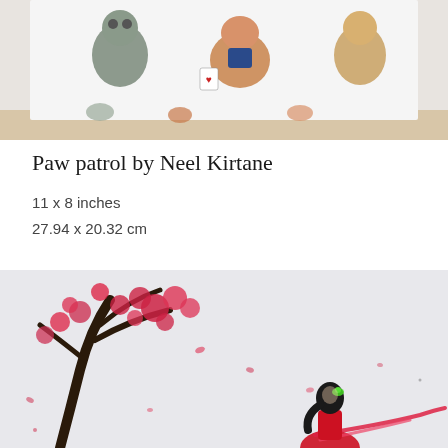[Figure (photo): Top portion of a Paw Patrol drawing showing cartoon animal characters with paws and figures on a white paper surface, partially cut off at top]
Paw patrol by Neel Kirtane
11 x 8 inches
27.94 x 20.32 cm
[Figure (photo): Painting of a Japanese-style girl in a red dress with black hair and green hair accessory, standing near a cherry blossom tree with red flowers on a white background, with falling petals scattered around]